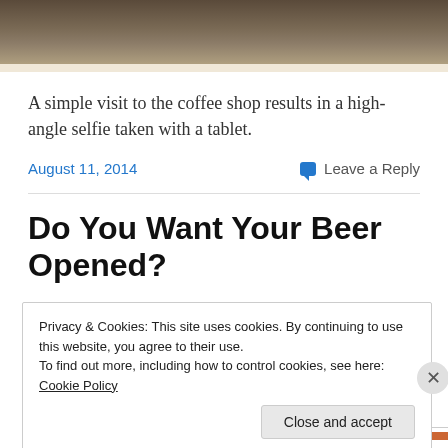[Figure (photo): Partial photo showing underside of a wooden table or stool in a coffee shop, dark and brown tones]
A simple visit to the coffee shop results in a high-angle selfie taken with a tablet.
August 11, 2014   Leave a Reply
Do You Want Your Beer Opened?
Privacy & Cookies: This site uses cookies. By continuing to use this website, you agree to their use.
To find out more, including how to control cookies, see here: Cookie Policy
Close and accept